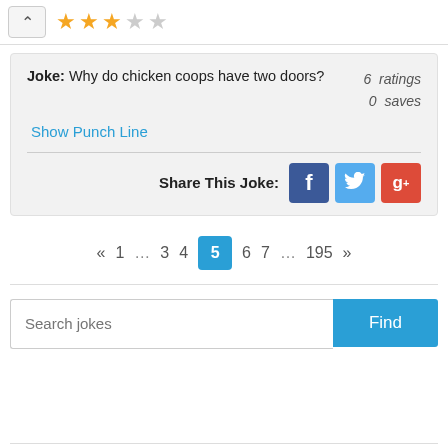[Figure (screenshot): Top bar with up arrow button and 3 filled gold stars and 2 empty stars rating]
Joke: Why do chicken coops have two doors? 6 ratings 0 saves
Show Punch Line
Share This Joke: [Facebook] [Twitter] [Google+]
« 1 … 3 4 5 6 7 … 195 »
Search jokes Find